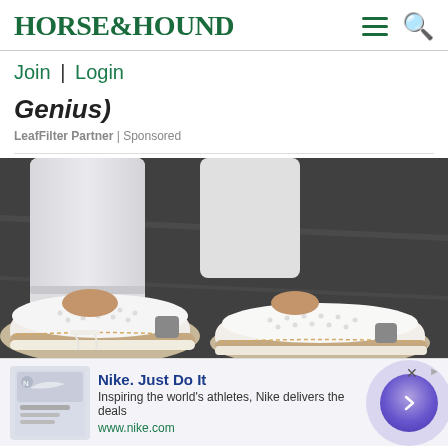HORSE&HOUND
Join | Login
Genius)
LeafFilter Partner | Sponsored
[Figure (photo): Close-up photo of a person wearing white jeans and white perforated slip-on sneakers with tan/cork soles, standing on a dark pavement.]
Nike. Just Do It
Inspiring the world's athletes, Nike delivers the deals
www.nike.com